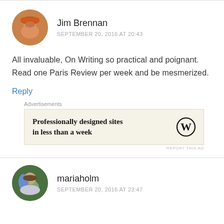Jim Brennan
SEPTEMBER 20, 2016 AT 20:43
All invaluable, On Writing so practical and poignant. Read one Paris Review per week and be mesmerized.
Reply
Advertisements
[Figure (other): WordPress advertisement banner: 'Professionally designed sites in less than a week' with WordPress logo]
REPORT THIS AD
mariaholm
SEPTEMBER 20, 2016 AT 23:47